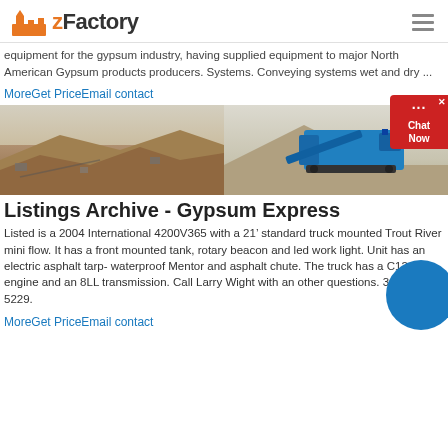zFactory
equipment for the gypsum industry, having supplied equipment to major North American Gypsum products producers. Systems. Conveying systems wet and dry ...
MoreGet PriceEmail contact
[Figure (photo): Two photos side by side: left shows an open-pit mining or quarry site with terrain and machinery; right shows a large blue mobile crushing/screening machine in a desert environment.]
Listings Archive - Gypsum Express
Listed is a 2004 International 4200V365 with a 21’ standard truck mounted Trout River mini flow. It has a front mounted tank, rotary beacon and led work light. Unit has an electric asphalt tarp- waterproof Mentor and asphalt chute. The truck has a C12 cat engine and an 8LL transmission. Call Larry Wight with an other questions. 315-870-5229.
MoreGet PriceEmail contact